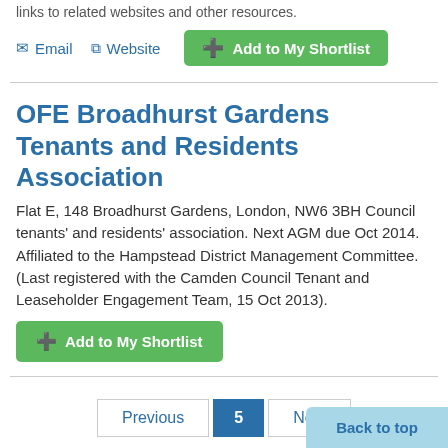links to related websites and other resources.
Email   Website   + Add to My Shortlist
OFE Broadhurst Gardens Tenants and Residents Association
Flat E, 148 Broadhurst Gardens, London, NW6 3BH Council tenants' and residents' association. Next AGM due Oct 2014. Affiliated to the Hampstead District Management Committee. (Last registered with the Camden Council Tenant and Leaseholder Engagement Team, 15 Oct 2013).
+ Add to My Shortlist
Previous   5   Next
Back to top